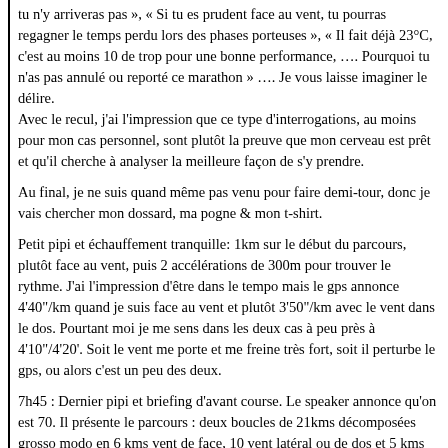tu n'y arriveras pas », « Si tu es prudent face au vent, tu pourras regagner le temps perdu lors des phases porteuses », « Il fait déjà 23°C, c'est au moins 10 de trop pour une bonne performance, …. Pourquoi tu n'as pas annulé ou reporté ce marathon » …. Je vous laisse imaginer le délire.
Avec le recul, j'ai l'impression que ce type d'interrogations, au moins pour mon cas personnel, sont plutôt la preuve que mon cerveau est prêt et qu'il cherche à analyser la meilleure façon de s'y prendre.
Au final, je ne suis quand même pas venu pour faire demi-tour, donc je vais chercher mon dossard, ma pogne & mon t-shirt.
Petit pipi et échauffement tranquille: 1km sur le début du parcours, plutôt face au vent, puis 2 accélérations de 300m pour trouver le rythme. J'ai l'impression d'être dans le tempo mais le gps annonce 4'40"/km quand je suis face au vent et plutôt 3'50"/km avec le vent dans le dos. Pourtant moi je me sens dans les deux cas à peu près à 4'10"/4'20'. Soit le vent me porte et me freine très fort, soit il perturbe le gps, ou alors c'est un peu des deux.
7h45 : Dernier pipi et briefing d'avant course. Le speaker annonce qu'on est 70. Il présente le parcours : deux boucles de 21kms décomposées grosso modo en 6 kms vent de face, 10 vent latéral ou de dos et 5 kms pour le retour latéral ou dans la tête.
IL présente son favori : Thomas Guérin, qui possède un record en